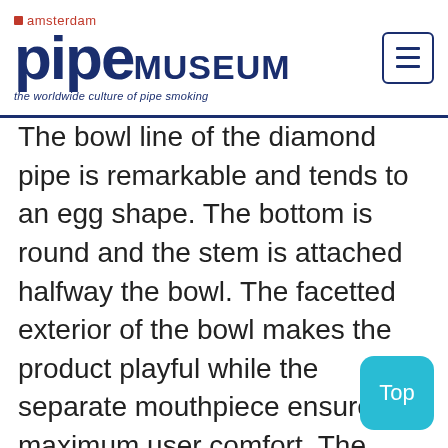amsterdam pipe MUSEUM — the worldwide culture of pipe smoking
The bowl line of the diamond pipe is remarkable and tends to an egg shape. The bottom is round and the stem is attached halfway the bowl. The facetted exterior of the bowl makes the product playful while the separate mouthpiece ensures maximum user comfort. The connection between the ceramic and the mouthpiece is marked with a gilded metal band around the stem stamped with the factory name as a trademark.